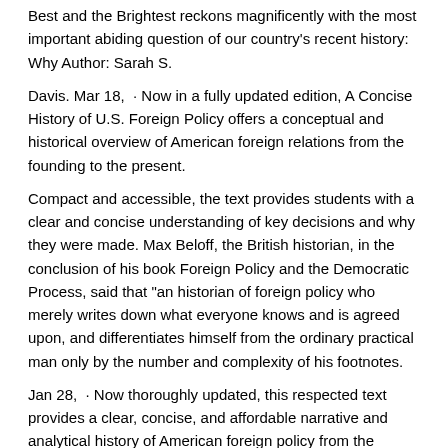Best and the Brightest reckons magnificently with the most important abiding question of our country’s recent history: Why Author: Sarah S.
Davis. Mar 18,  · Now in a fully updated edition, A Concise History of U.S. Foreign Policy offers a conceptual and historical overview of American foreign relations from the founding to the present.
Compact and accessible, the text provides students with a clear and concise understanding of key decisions and why they were made. Max Beloff, the British historian, in the conclusion of his book Foreign Policy and the Democratic Process, said that "an historian of foreign policy who merely writes down what everyone knows and is agreed upon, and differentiates himself from the ordinary practical man only by the number and complexity of his footnotes.
Jan 28,  · Now thoroughly updated, this respected text provides a clear, concise, and affordable narrative and analytical history of American foreign policy from the revolutionary period to the present.
This edition includes an all-new chapter on the George W. Bush presidency, 9/11, and the war in ogmaexpo.com Edition: 3rd Edition.